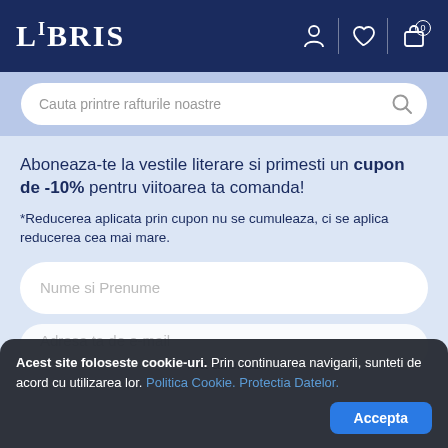LIBRIS
Cauta printre rafturile noastre
Aboneaza-te la vestile literare si primesti un cupon de -10% pentru viitoarea ta comanda!
*Reducerea aplicata prin cupon nu se cumuleaza, ci se aplica reducerea cea mai mare.
Nume si Prenume
Adresa ta de e-mail
Ma abonez
Acest site foloseste cookie-uri. Prin continuarea navigarii, sunteti de acord cu utilizarea lor. Politica Cookie. Protectia Datelor.
Accepta